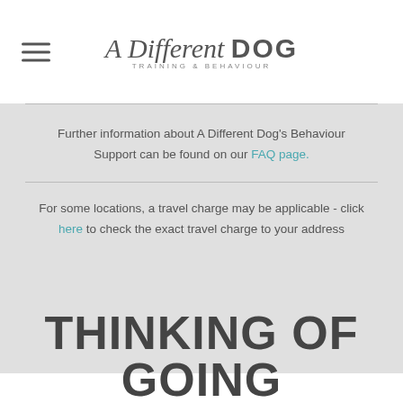[Figure (logo): A Different Dog Training & Behaviour logo with hamburger menu icon]
Further information about A Different Dog's Behaviour Support can be found on our FAQ page.
For some locations, a travel charge may be applicable - click here to check the exact travel charge to your address
THINKING OF GOING